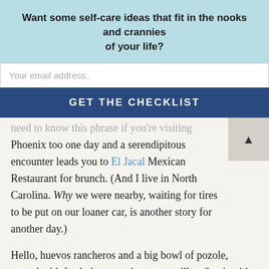Want some self-care ideas that fit in the nooks and crannies of your life?
Your email address..
GET THE CHECKLIST
need to know this phrase if you're visiting Phoenix too one day and a serendipitous encounter leads you to El Jacal Mexican Restaurant for brunch. (And I live in North Carolina. Why we were nearby, waiting for tires to be put on our loaner car, is another story for another day.)
Hello, huevos rancheros and a big bowl of pozole, served with fresh, homemade, corn tortillas. Say it with me: Coma alimentos.